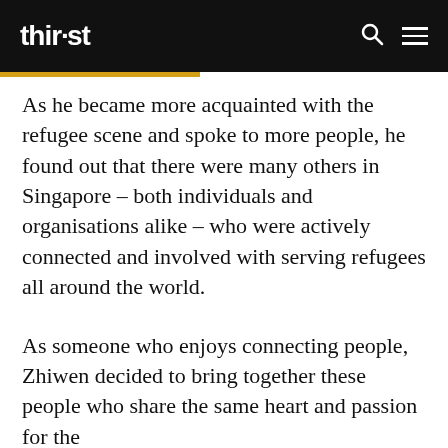thirst
As he became more acquainted with the refugee scene and spoke to more people, he found out that there were many others in Singapore – both individuals and organisations alike – who were actively connected and involved with serving refugees all around the world.
As someone who enjoys connecting people, Zhiwen decided to bring together these people who share the same heart and passion for the